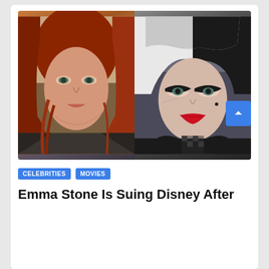[Figure (photo): Side-by-side movie stills: left shows a woman with red hair in dark tactical gear (Black Widow), right shows a woman with half black half white hair, heavy eye makeup and red lips as Cruella de Vil]
CELEBRITIES   MOVIES
Emma Stone Is Suing Disney After